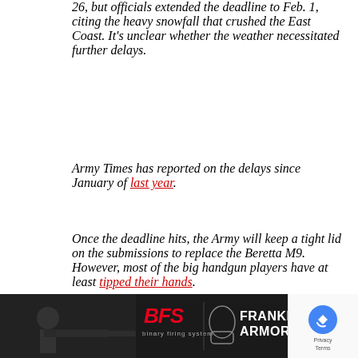26, but officials extended the deadline to Feb. 1, citing the heavy snowfall that crushed the East Coast. It's unclear whether the weather necessitated further delays.
Army Times has reported on the delays since January of last year.
Once the deadline hits, the Army will keep a tight lid on the submissions to replace the Beretta M9. However, most of the big handgun players have at least tipped their hands.
The incumbent Beretta will compete. So will Sig Sauer. Glock and Smith & Wesson told Army Times in the fall they would each enter. Heckler & Koch in the fall said they were unlikely to submit. Ruger's CEO said in a conference call to investors they would not subm... acc...
[Figure (photo): Advertisement banner: Franklin Armory with BFS logo and shooter photo]